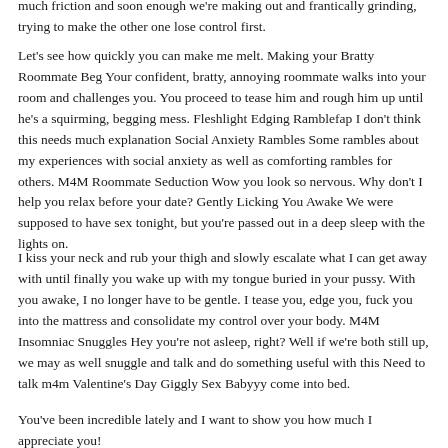much friction and soon enough we're making out and frantically grinding, trying to make the other one lose control first.
Let's see how quickly you can make me melt. Making your Bratty Roommate Beg Your confident, bratty, annoying roommate walks into your room and challenges you. You proceed to tease him and rough him up until he's a squirming, begging mess. Fleshlight Edging Ramblefap I don't think this needs much explanation Social Anxiety Rambles Some rambles about my experiences with social anxiety as well as comforting rambles for others. M4M Roommate Seduction Wow you look so nervous. Why don't I help you relax before your date? Gently Licking You Awake We were supposed to have sex tonight, but you're passed out in a deep sleep with the lights on.
I kiss your neck and rub your thigh and slowly escalate what I can get away with until finally you wake up with my tongue buried in your pussy. With you awake, I no longer have to be gentle. I tease you, edge you, fuck you into the mattress and consolidate my control over your body. M4M Insomniac Snuggles Hey you're not asleep, right? Well if we're both still up, we may as well snuggle and talk and do something useful with this Need to talk m4m Valentine's Day Giggly Sex Babyyy come into bed.
You've been incredible lately and I want to show you how much I appreciate you!